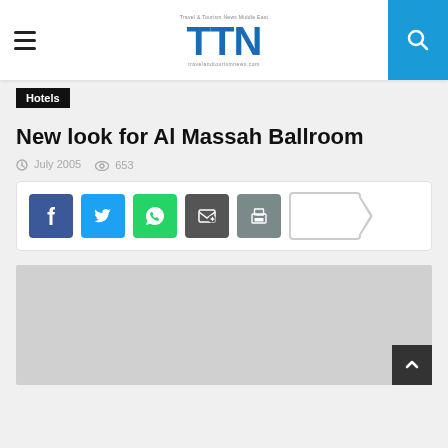TTN — Travel & Tourism News Middle East
Hotels
New look for Al Massah Ballroom
July 2005  653
[Figure (screenshot): Social share buttons: Facebook, Twitter, WhatsApp, Email, Print, Tag/Bookmark]
[Figure (photo): Article image placeholder (light grey rectangle)]